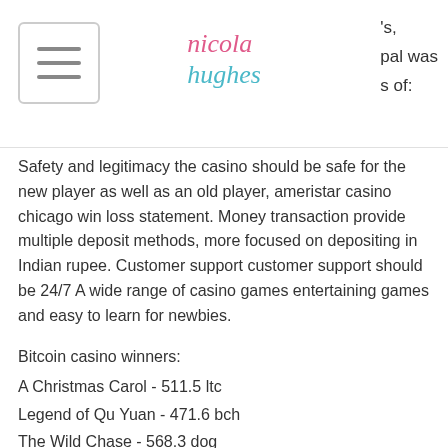Nicola Hughes — [navigation header with hamburger menu and partial text: 's, pal was s of:']
Safety and legitimacy the casino should be safe for the new player as well as an old player, ameristar casino chicago win loss statement. Money transaction provide multiple deposit methods, more focused on depositing in Indian rupee. Customer support customer support should be 24/7 A wide range of casino games entertaining games and easy to learn for newbies.
Bitcoin casino winners:
A Christmas Carol - 511.5 ltc
Legend of Qu Yuan - 471.6 bch
The Wild Chase - 568.3 dog
World of Warlords - 75.5 usdt
Wild Jester - 77.8 bch
Dr Watts up - 387.9 btc
Exotic Fruit Deluxe - 611 btc